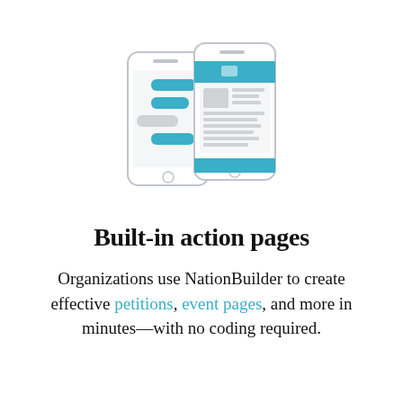[Figure (illustration): Two overlapping smartphone illustrations showing app screens with teal header/footer bars, chat bubbles, and content blocks]
Built-in action pages
Organizations use NationBuilder to create effective petitions, event pages, and more in minutes—with no coding required.